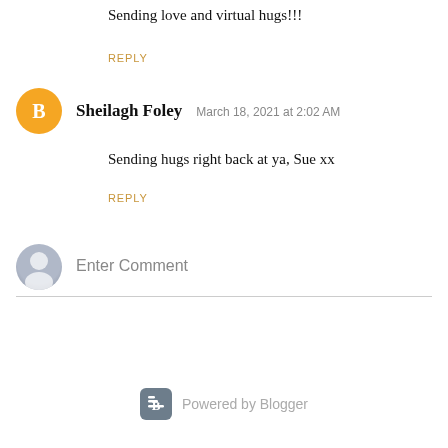Sending love and virtual hugs!!!
REPLY
Sheilagh Foley  March 18, 2021 at 2:02 AM
Sending hugs right back at ya, Sue xx
REPLY
Enter Comment
Powered by Blogger